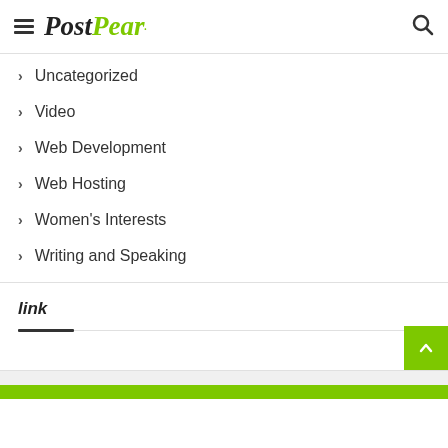PostPear
Uncategorized
Video
Web Development
Web Hosting
Women's Interests
Writing and Speaking
link